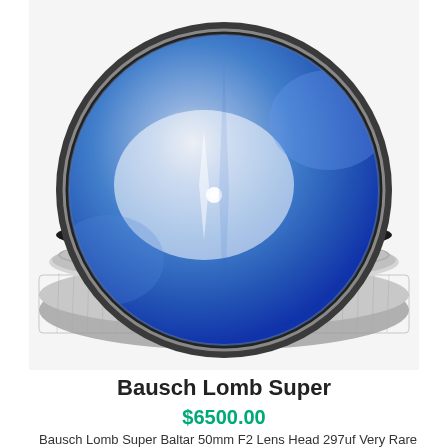[Figure (photo): Close-up photo of a Bausch Lomb Super Baltar 50mm F2 camera lens head, viewed from the front. The lens has a blue-coated glass element visible, with light reflections creating a white starburst pattern. The lens barrel is silver/chrome metal with a black rubber O-ring and knurled focusing ring.]
Bausch Lomb Super
$6500.00
Bausch Lomb Super Baltar 50mm F2 Lens Head 297uf Very Rare